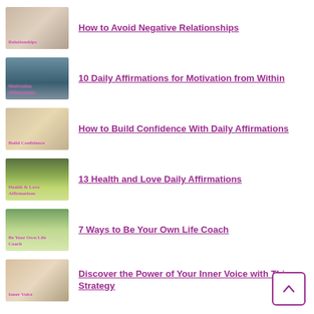How to Avoid Negative Relationships
10 Daily Affirmations for Motivation from Within
How to Build Confidence With Daily Affirmations
13 Health and Love Daily Affirmations
7 Ways to Be Your Own Life Coach
Discover the Power of Your Inner Voice with This Strategy